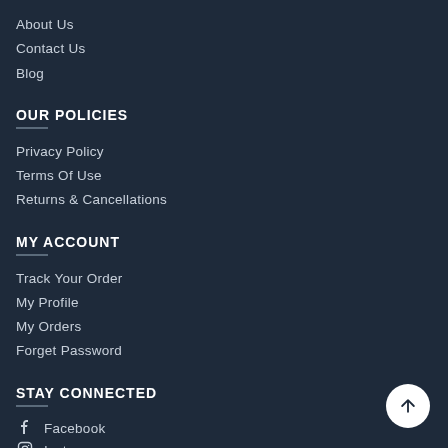About Us
Contact Us
Blog
OUR POLICIES
Privacy Policy
Terms Of Use
Returns & Cancellations
MY ACCOUNT
Track Your Order
My Profile
My Orders
Forget Password
STAY CONNECTED
Facebook
Instagram